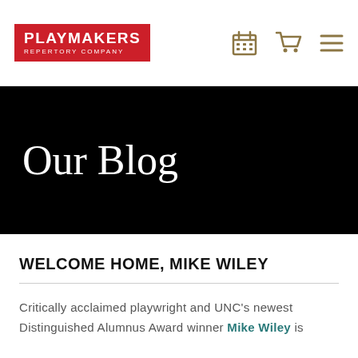[Figure (logo): Playmakers Repertory Company logo - red rectangle with white text reading PLAYMAKERS REPERTORY COMPANY]
[Figure (infographic): Navigation icons: calendar grid icon, shopping cart icon, and hamburger menu icon in gold/olive color]
Our Blog
WELCOME HOME, MIKE WILEY
Critically acclaimed playwright and UNC's newest Distinguished Alumnus Award winner Mike Wiley is